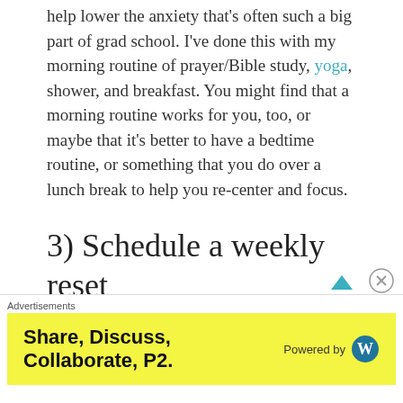help lower the anxiety that's often such a big part of grad school. I've done this with my morning routine of prayer/Bible study, yoga, shower, and breakfast. You might find that a morning routine works for you, too, or maybe that it's better to have a bedtime routine, or something that you do over a lunch break to help you re-center and focus.
3) Schedule a weekly reset
Resting one day out of the week has a long history in Christianity. Much of the world (even within churches) has moved away from a Sabbath, but there is still great value in taking
Advertisements
[Figure (other): Yellow advertisement banner reading 'Share, Discuss, Collaborate, P2.' with 'Powered by WordPress' logo on the right.]